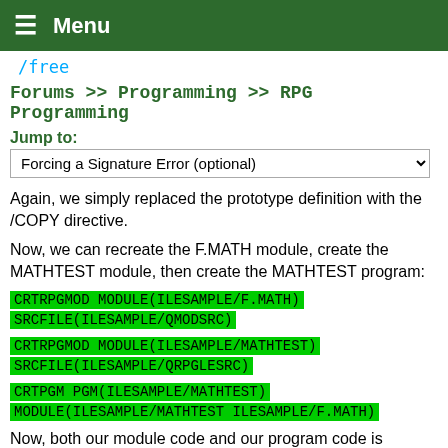Menu
/free
Forums >> Programming >> RPG Programming
Jump to:
Forcing a Signature Error (optional)
Again, we simply replaced the prototype definition with the /COPY directive.
Now, we can recreate the F.MATH module, create the MATHTEST module, then create the MATHTEST program:
CRTRPGMOD MODULE(ILESAMPLE/F.MATH)
SRCFILE(ILESAMPLE/QMODSRC)
CRTRPGMOD MODULE(ILESAMPLE/MATHTEST)
SRCFILE(ILESAMPLE/QRPGLESRC)
CRTPGM PGM(ILESAMPLE/MATHTEST)
MODULE(ILESAMPLE/MATHTEST ILESAMPLE/F.MATH)
Now, both our module code and our program code is cleaned up so that it does not contain redundant